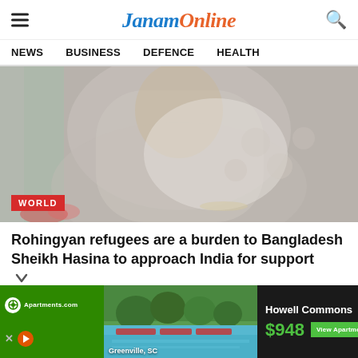JanamOnline — NEWS  BUSINESS  DEFENCE  HEALTH
[Figure (photo): Photo of a woman in a saree, cropped torso view with a WORLD badge overlay at bottom left]
Rohingyan refugees are a burden to Bangladesh Sheikh Hasina to approach India for support
[Figure (infographic): Advertisement banner: Apartments.com ad for Howell Commons in Greenville SC, price $948, with View Apartments button]